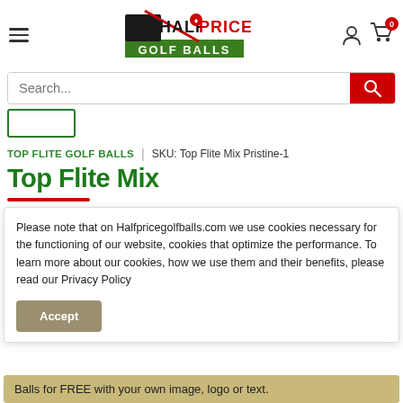[Figure (logo): Half Price Golf Balls logo with golfer silhouette, red and green text]
Search...
TOP FLITE GOLF BALLS | SKU: Top Flite Mix Pristine-1
Top Flite Mix
Please note that on Halfpricegolfballs.com we use cookies necessary for the functioning of our website, cookies that optimize the performance. To learn more about our cookies, how we use them and their benefits, please read our Privacy Policy
Balls for FREE with your own image, logo or text.